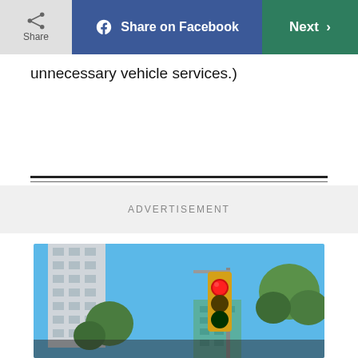Share | Share on Facebook | Next >
unnecessary vehicle services.)
[Figure (photo): Urban street scene with a red traffic light in foreground, city buildings and green tree in background under blue sky]